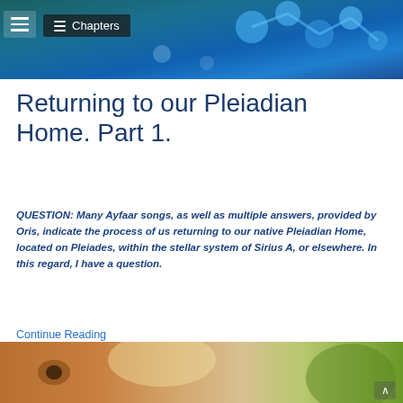[Figure (photo): Banner header image showing blue molecular/atom structure on dark teal background with navigation menu icon and Chapters button overlay]
Returning to our Pleiadian Home. Part 1.
QUESTION: Many Ayfaar songs, as well as multiple answers, provided by Oris, indicate the process of us returning to our native Pleiadian Home, located on Pleiades, within the stellar system of Sirius A, or elsewhere. In this regard, I have a question.
Continue Reading
[Figure (photo): Bottom image showing a horse and a blonde person (child or woman) close together, with green foliage in background]